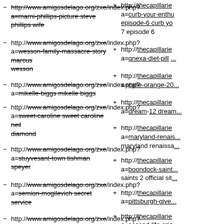http://www.amigosdelago.org/zxe/index.php?a=marni-phillips-picture steve phillips wife
http://thecapillaries...a=curb-your-enthu episode-6 curb yo... 7 episode 6
http://www.amigosdelago.org/zxe/index.php?a=wesson-family-massacre-story marcus wesson
http://thecapillaries...a=qnexa-diet-pill ...
http://www.amigosdelago.org/zxe/index.php?a=mikelle-biggs mikelle biggs
http://thecapillaries...a=calle-orange-20...
http://www.amigosdelago.org/zxe/index.php?a=sweet-caroline sweet caroline neil diamond
http://thecapillaries...a=dream-12 dream...
http://www.amigosdelago.org/zxe/index.php?a=stuyvesant-town tishman speyer
http://thecapillaries...a=maryland-renais... maryland renaissa...
http://www.amigosdelago.org/zxe/index.php?a=semion-mogilevich secret service
http://thecapillaries...a=boondock-saint... saints 2 official sit...
http://www.amigosdelago.org/zxe/index.php?a=howard-berg world s fastest speed reader
http://thecapillaries...a=pittsburgh-give...
http://www.amigosdelago.org/zxe/index.php?a=sally-reese floyd reese
http://thecapillaries...a=second-life-gric...
http://www.amigosdelago.org/zxe/index.php?
http://thecapillaries...